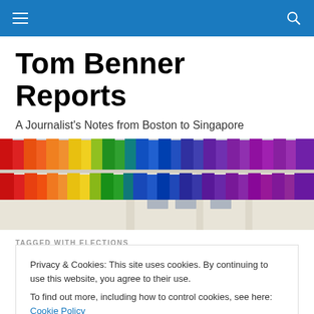[Navigation bar with hamburger menu and search icon]
Tom Benner Reports
A Journalist's Notes from Boston to Singapore
[Figure (photo): Colorful filing binders/folders arranged on shelves of a neoclassical building facade, spanning red, orange, yellow, green, blue, and purple colors]
TAGGED WITH ELECTIONS
Privacy & Cookies: This site uses cookies. By continuing to use this website, you agree to their use.
To find out more, including how to control cookies, see here: Cookie Policy
[Close and accept button]
Published by Al Jazeera English, Sept. 10, 2015